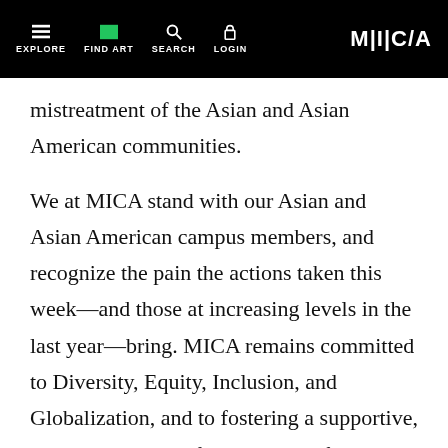EXPLORE | FIND ART | SEARCH | LOGIN | MICA
mistreatment of the Asian and Asian American communities.
We at MICA stand with our Asian and Asian American campus members, and recognize the pain the actions taken this week—and those at increasing levels in the last year—bring. MICA remains committed to Diversity, Equity, Inclusion, and Globalization, and to fostering a supportive, welcoming, and safe community for everyone.
We know how challenging these times are, and